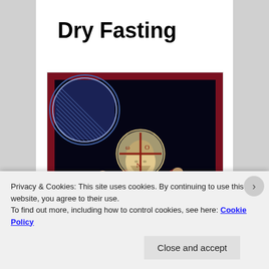Dry Fasting
[Figure (illustration): Orthodox icon depicting Jesus Christ praying in the garden of Gethsemane. Dark background with Jesus kneeling in blue robe with raised hands, a golden halo with cross, text 'IC XC' beside him, rocky landscape and a blue sphere in upper left corner. Deep red border around the icon.]
Privacy & Cookies: This site uses cookies. By continuing to use this website, you agree to their use.
To find out more, including how to control cookies, see here: Cookie Policy
Close and accept